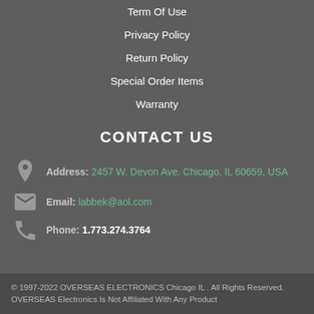Term Of Use
Privacy Policy
Return Policy
Special Order Items
Warranty
CONTACT US
Address: 2457 W. Devon Ave. Chicago, IL 60659, USA
Email: labbek@aol.com
Phone: 1.773.274.3764
© 1997-2022 OVERSEAS ELECTRONICS Chicago IL . All Rights Reserved. OVERSEAS Electronics Is Not Affiliated With Any Product